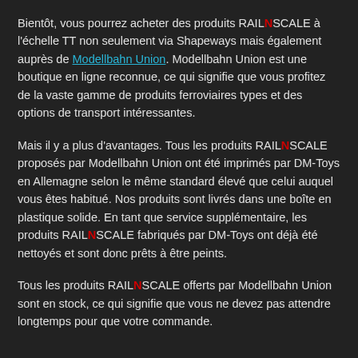Bientôt, vous pourrez acheter des produits RAILNSCALE à l'échelle TT non seulement via Shapeways mais également auprès de Modellbahn Union. Modellbahn Union est une boutique en ligne reconnue, ce qui signifie que vous profitez de la vaste gamme de produits ferroviaires types et des options de transport intéressantes.
Mais il y a plus d'avantages. Tous les produits RAILNSCALE proposés par Modellbahn Union ont été imprimés par DM-Toys en Allemagne selon le même standard élevé que celui auquel vous êtes habitué. Nos produits sont livrés dans une boîte en plastique solide. En tant que service supplémentaire, les produits RAILNSCALE fabriqués par DM-Toys ont déjà été nettoyés et sont donc prêts à être peints.
Tous les produits RAILNSCALE offerts par Modellbahn Union sont en stock, ce qui signifie que vous ne devez pas attendre longtemps pour que votre commande.